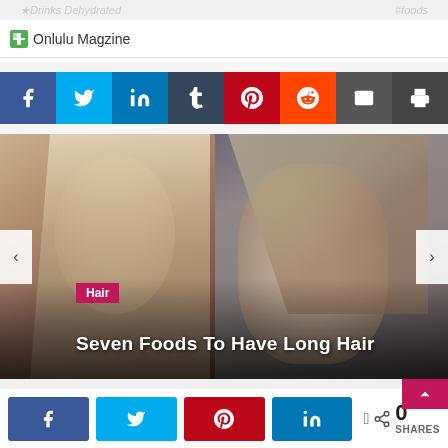[Figure (screenshot): Onlulu Magazine website header with logo icon and site name]
[Figure (infographic): Social share button bar with Facebook, Twitter, LinkedIn, Tumblr, Pinterest, Reddit, Email, Print buttons]
[Figure (photo): Carousel showing two women with blonde hair; Hair category badge and partial title 'Seven Foods To Have Long Hair' overlaid. Left/right navigation arrows visible.]
[Figure (infographic): Bottom social share bar with Facebook, Twitter, Pinterest, LinkedIn buttons and share count showing 0 SHARES. Pink back-to-top button on right.]